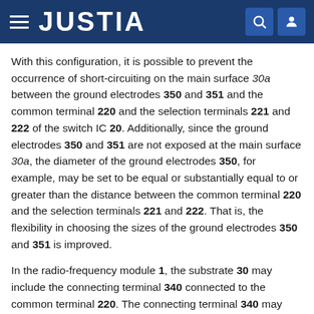JUSTIA
With this configuration, it is possible to prevent the occurrence of short-circuiting on the main surface 30a between the ground electrodes 350 and 351 and the common terminal 220 and the selection terminals 221 and 222 of the switch IC 20. Additionally, since the ground electrodes 350 and 351 are not exposed at the main surface 30a, the diameter of the ground electrodes 350, for example, may be set to be equal or substantially equal to or greater than the distance between the common terminal 220 and the selection terminals 221 and 222. That is, the flexibility in choosing the sizes of the ground electrodes 350 and 351 is improved.
In the radio-frequency module 1, the substrate 30 may include the connecting terminal 340 connected to the common terminal 220. The connecting terminal 340 may